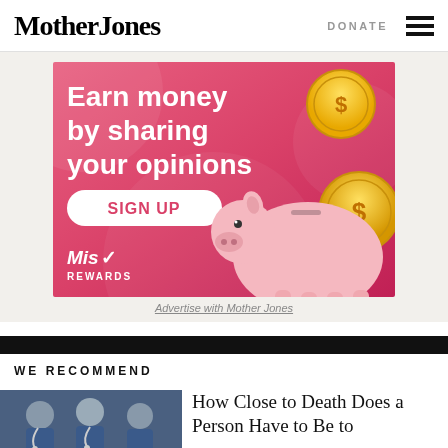Mother Jones | DONATE
[Figure (illustration): Advertisement banner for Miss Rewards: 'Earn money by sharing your opinions' with SIGN UP button, gold coins, piggy bank illustration on pink/red background]
Advertise with Mother Jones
WE RECOMMEND
[Figure (photo): Photo of medical workers/nurses in blue scrubs]
How Close to Death Does a Person Have to Be to